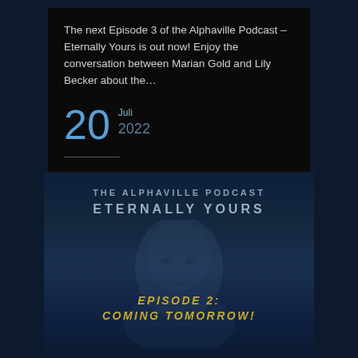The next Episode 3 of the Alphaville Podcast – Eternally Yours is out now! Enjoy the conversation between Marian Gold and Lily Becker about the…
20 Juli 2022
[Figure (photo): Promotional image for The Alphaville Podcast – Eternally Yours, showing a dark blue toned close-up silhouette of a man's face with text overlay reading 'THE ALPHAVILLE PODCAST ETERNALLY YOURS' at the top and 'EPISODE 2: COMING TOMORROW!' in gold italic letters at the bottom.]